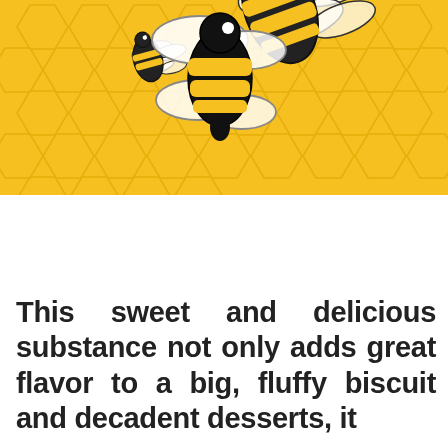[Figure (illustration): Illustration of bees on a honeycomb background. A large bee with black and yellow stripes is shown on the right side, a smaller bee in the center-left area, and the background is a yellow hexagonal honeycomb pattern. On a white area below, a single medium-sized cartoon bee with black and yellow stripes, transparent wings, and a small eye highlight is shown flying.]
This sweet and delicious substance not only adds great flavor to a big, fluffy biscuit and decadent desserts, it